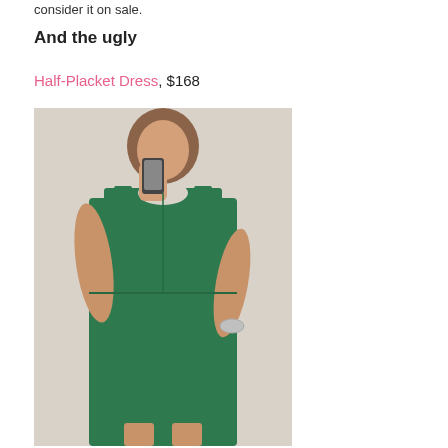consider it on sale.
And the ugly
Half-Placket Dress, $168
[Figure (photo): A woman wearing a green half-placket sleeveless dress, taking a mirror selfie with one hand raised to hold the phone and the other on her hip. She is wearing a silver bracelet and watch.]